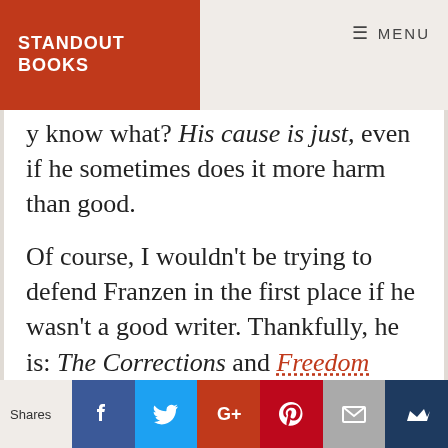STANDOUT BOOKS | MENU
y know what? His cause is just, even if he sometimes does it more harm than good.

Of course, I wouldn't be trying to defend Franzen in the first place if he wasn't a good writer. Thankfully, he is: The Corrections and Freedom were two of my first contemporary American novels, and I think
Shares | Facebook | Twitter | Google+ | Pinterest | Email | Crown